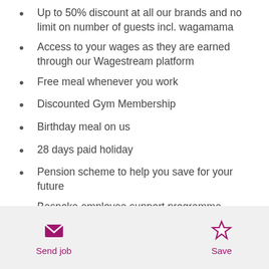Up to 50% discount at all our brands and no limit on number of guests incl. wagamama
Access to your wages as they are earned through our Wagestream platform
Free meal whenever you work
Discounted Gym Membership
Birthday meal on us
28 days paid holiday
Pension scheme to help you save for your future
Bespoke employee support programme, including free counselling sessions
Send job   Save